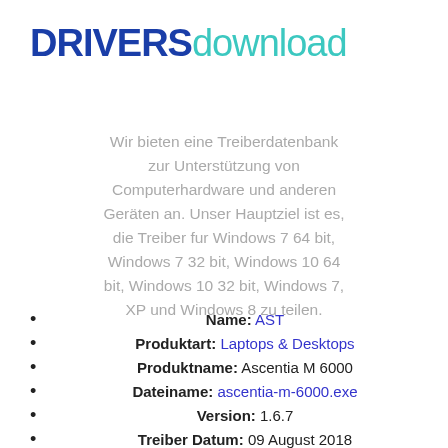[Figure (logo): DRIVERSdownload logo with DRIVERS in dark blue bold and download in teal/cyan]
Wir bieten eine Treiberdatenbank zur Unterstützung von Computerhardware und anderen Geräten an. Unser Hauptziel ist es, die Treiber fur Windows 7 64 bit, Windows 7 32 bit, Windows 10 64 bit, Windows 10 32 bit, Windows 7, XP und Windows 8 zu teilen.
Name: AST
Produktart: Laptops & Desktops
Produktname: Ascentia M 6000
Dateiname: ascentia-m-6000.exe
Version: 1.6.7
Treiber Datum: 09 August 2018